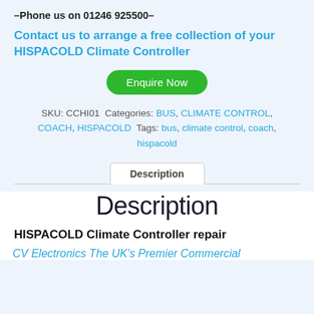–Phone us on 01246 925500–
Contact us to arrange a free collection of your HISPACOLD Climate Controller
Enquire Now
SKU: CCHI01  Categories: BUS, CLIMATE CONTROL, COACH, HISPACOLD  Tags: bus, climate control, coach, hispacold
Description
Description
HISPACOLD Climate Controller repair
CV Electronics The UK's Premier Commercial